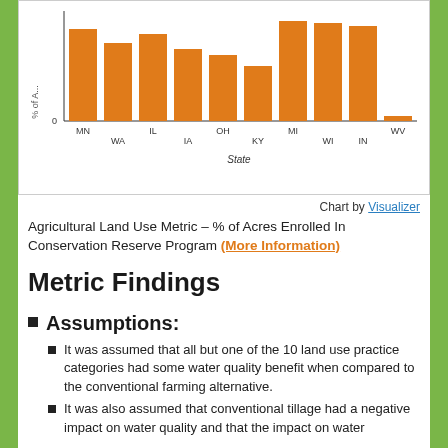[Figure (bar-chart): % of Acres enrolled in Conservation Reserve Program]
Chart by Visualizer
Agricultural Land Use Metric – % of Acres Enrolled In Conservation Reserve Program (More Information)
Metric Findings
Assumptions:
It was assumed that all but one of the 10 land use practice categories had some water quality benefit when compared to the conventional farming alternative.
It was also assumed that conventional tillage had a negative impact on water quality and that the impact on water quality...